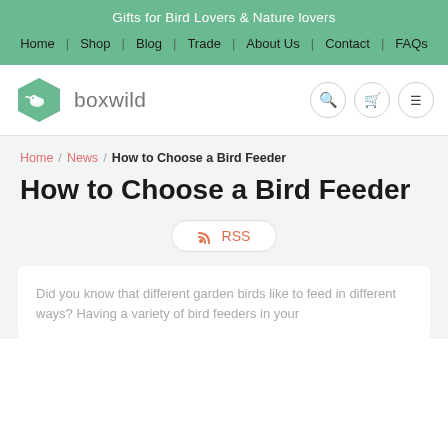Gifts for Bird Lovers & Nature lovers
Home | Shop | Blog | Trade | About Us | Contact | FAQs
[Figure (logo): Boxwild hexagon logo with bird silhouette and text 'boxwild']
Home / News / How to Choose a Bird Feeder
How to Choose a Bird Feeder
RSS
Did you know that different garden birds like to feed in different ways? Having a variety of bird feeders in your